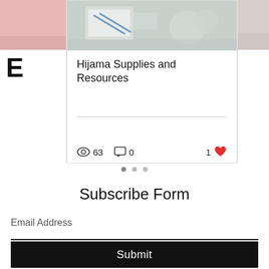[Figure (screenshot): Carousel card showing 'Hijama Supplies and Resources' with a photo of medical supplies at top, a view count of 63, comment count of 0, and 1 like (heart icon in red). Left strip shows partial image and large letter E. Right strip shows partial image.]
Hijama Supplies and Resources
63  0  1
• • •
Subscribe Form
Email Address
Submit